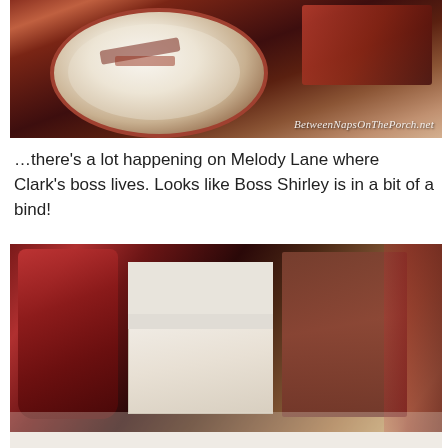[Figure (photo): Overhead view of a Christmas holiday table setting with red and white plates decorated with holly/berry patterns, red napkins, and holiday decorations on a dark red/brown surface. Watermark reads BetweenNapsOnThePorch.net]
…there's a lot happening on Melody Lane where Clark's boss lives. Looks like Boss Shirley is in a bit of a bind!
[Figure (photo): Christmas village scene on a table with miniature white colonial house and brick building models, a large red glass on the left, and holiday ribbons/decorations in red and plaid on the right.]